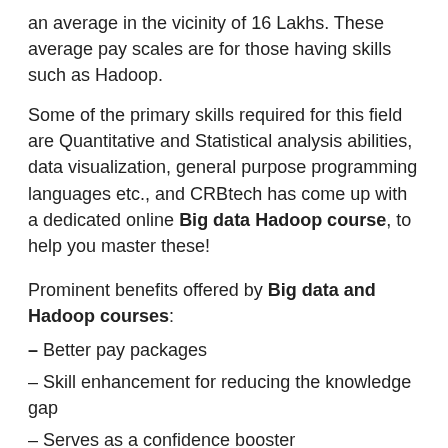an average in the vicinity of 16 Lakhs. These average pay scales are for those having skills such as Hadoop.
Some of the primary skills required for this field are Quantitative and Statistical analysis abilities, data visualization, general purpose programming languages etc., and CRBtech has come up with a dedicated online Big data Hadoop course, to help you master these!
Prominent benefits offered by Big data and Hadoop courses:
– Better pay packages
– Skill enhancement for reducing the knowledge gap
– Serves as a confidence booster
– Stand out from the untrained peers
– Greater number of opportunities
CRBtech, the Big data Hadoop training institute in